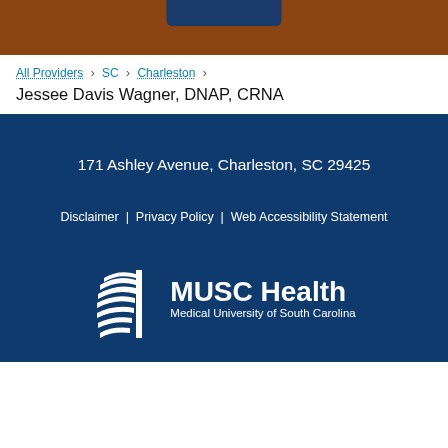MUSC Health header bar
All Providers > SC > Charleston >
Jessee Davis Wagner, DNAP, CRNA
171 Ashley Avenue, Charleston, SC 29425
Disclaimer | Privacy Policy | Web Accessibility Statement
[Figure (logo): MUSC Health logo with building icon and text 'MUSC Health Medical University of South Carolina']